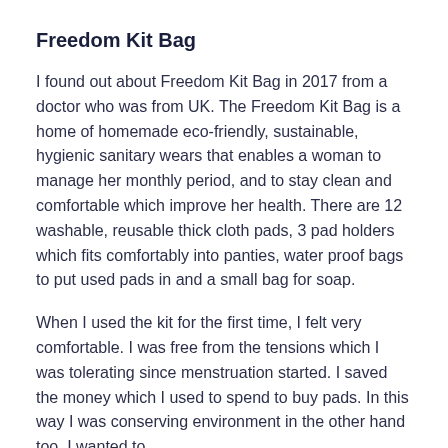Freedom Kit Bag
I found out about Freedom Kit Bag in 2017 from a doctor who was from UK. The Freedom Kit Bag is a home of homemade eco-friendly, sustainable, hygienic sanitary wears that enables a woman to manage her monthly period, and to stay clean and comfortable which improve her health. There are 12 washable, reusable thick cloth pads, 3 pad holders which fits comfortably into panties, water proof bags to put used pads in and a small bag for soap.
When I used the kit for the first time, I felt very comfortable. I was free from the tensions which I was tolerating since menstruation started. I saved the money which I used to spend to buy pads. In this way I was conserving environment in the other hand too. I wanted to